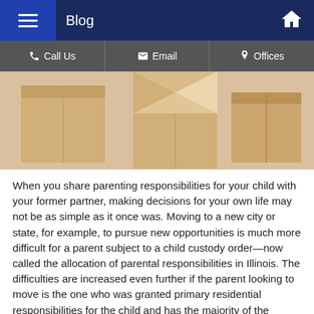Blog
[Figure (photo): Close-up photo of cardboard moving boxes]
When you share parenting responsibilities for your child with your former partner, making decisions for your own life may not be as simple as it once was. Moving to a new city or state, for example, to pursue new opportunities is much more difficult for a parent subject to a child custody order—now called the allocation of parental responsibilities in Illinois. The difficulties are increased even further if the parent looking to move is the one who was granted primary residential responsibilities for the child and has the majority of the parenting time. If you are thinking about relocating with your child, there are some things that